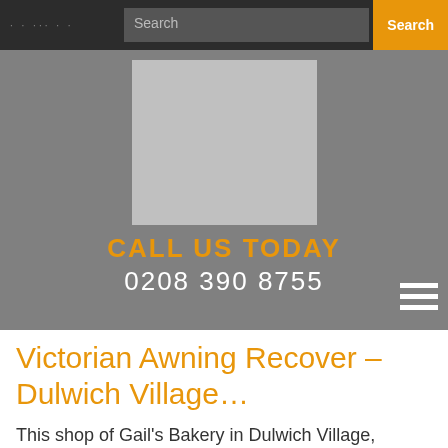Search | Search
[Figure (logo): Light grey placeholder rectangle representing a company logo on a grey background]
CALL US TODAY
0208 390 8755
Victorian Awning Recover – Dulwich Village…
This shop of Gail's Bakery in Dulwich Village, London had a Victorian awning in good